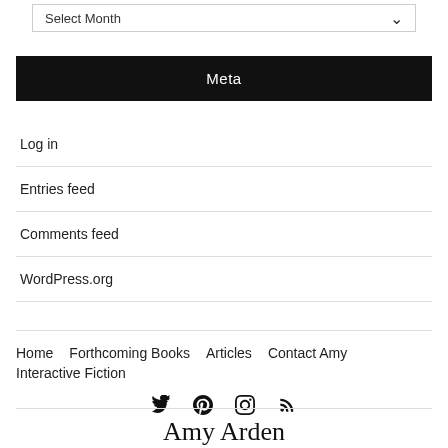Select Month
Meta
Log in
Entries feed
Comments feed
WordPress.org
Home  Forthcoming Books  Articles  Contact Amy  Interactive Fiction
Amy Arden